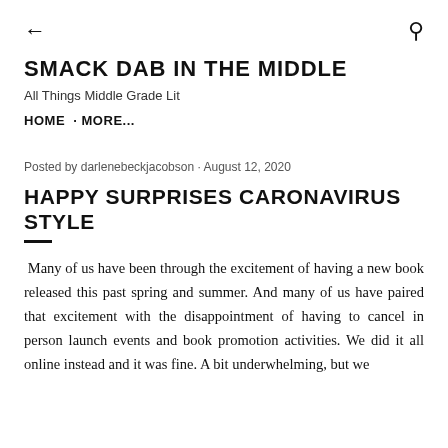← [back] [search]
SMACK DAB IN THE MIDDLE
All Things Middle Grade Lit
HOME · MORE...
Posted by darlenebeckjacobson · August 12, 2020
HAPPY SURPRISES CARONAVIRUS STYLE
Many of us have been through the excitement of having a new book released this past spring and summer. And many of us have paired that excitement with the disappointment of having to cancel in person launch events and book promotion activities. We did it all online instead and it was fine. A bit underwhelming, but we